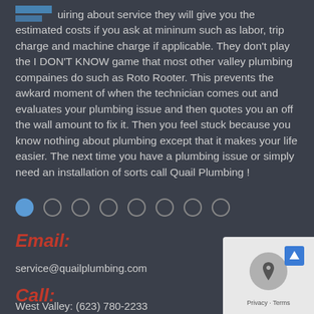...uiring about service they will give you the estimated costs if you ask at mininum such as labor, trip charge and machine charge if applicable. They don't play the I DON'T KNOW game that most other valley plumbing compaines do such as Roto Rooter. This prevents the awkard moment of when the technician comes out and evaluates your plumbing issue and then quotes you an off the wall amount to fix it. Then you feel stuck because you know nothing about plumbing except that it makes your life easier. The next time you have a plumbing issue or simply need an installation of sorts call Quail Plumbing !
[Figure (other): Pagination dots: one filled blue circle followed by seven empty circles]
Email:
service@quailplumbing.com
Call:
West Valley: (623) 780-2233
[Figure (other): Google Maps widget with location icon and arrow-up button, showing Privacy - Terms footer]